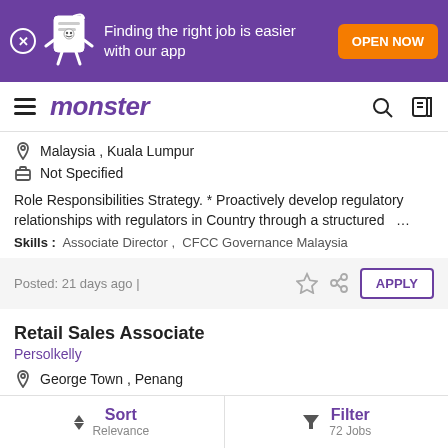[Figure (screenshot): Monster.com job listing app banner with purple background showing mascot and 'Finding the right job is easier with our app' text with orange OPEN NOW button]
monster
Malaysia , Kuala Lumpur
Not Specified
Role Responsibilities Strategy. * Proactively develop regulatory relationships with regulators in Country through a structured ...
Skills : Associate Director , CFCC Governance Malaysia
Posted: 21 days ago |
Retail Sales Associate
Persolkelly
George Town , Penang
Sort Relevance | Filter 72 Jobs